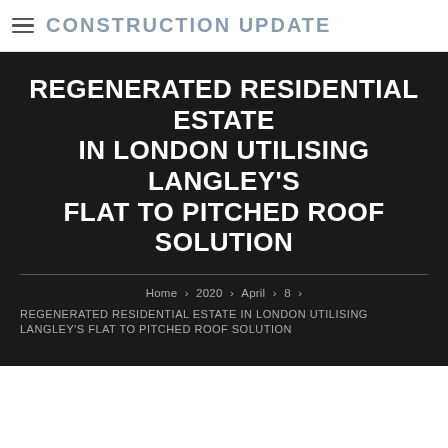CONSTRUCTION UPDATE
REGENERATED RESIDENTIAL ESTATE IN LONDON UTILISING LANGLEY'S FLAT TO PITCHED ROOF SOLUTION
Home › 2020 › April › 8 › REGENERATED RESIDENTIAL ESTATE IN LONDON UTILISING LANGLEY'S FLAT TO PITCHED ROOF SOLUTION